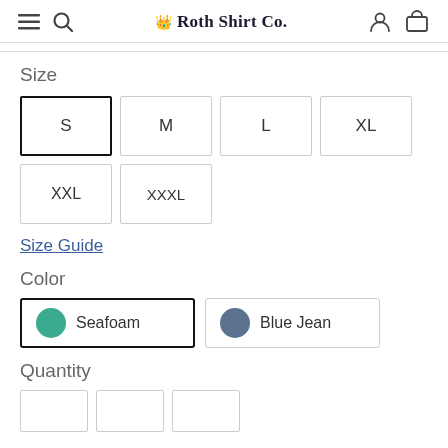≡ 🔍   Roth Shirt Co.   👤 🛒
Size
S
M
L
XL
XXL
XXXL
Size Guide
Color
Seafoam
Blue Jean
Quantity